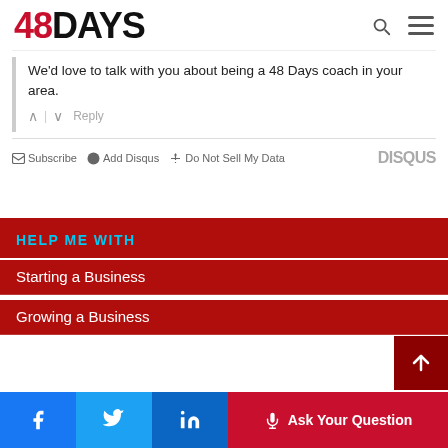48DAYS
We'd love to talk with you about being a 48 Days coach in your area.
Subscribe | Add Disqus | Do Not Sell My Data | DISQUS
HELP ME WITH
Starting a Business
Growing a Business